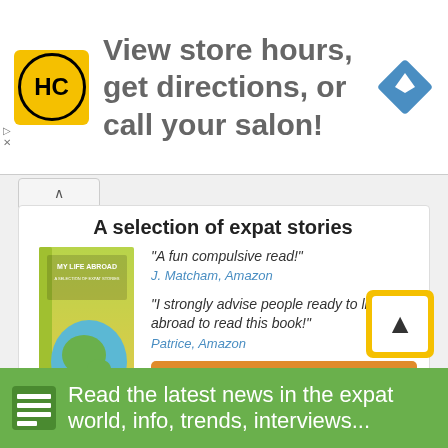[Figure (logo): HC salon logo – yellow square with black circle border and HC letters]
View store hours, get directions, or call your salon!
[Figure (logo): Google Maps blue diamond navigation icon]
A selection of expat stories
[Figure (illustration): Book cover: MY LIFE ABROAD – A Selection of Expat Stories, showing a globe coming out of a suitcase, green-yellow gradient cover]
"A fun compulsive read!"
J. Matcham, Amazon
"I strongly advise people ready to live abroad to read this book!"
Patrice, Amazon
More on the book >
Read the latest news in the expat world, info, trends, interviews...